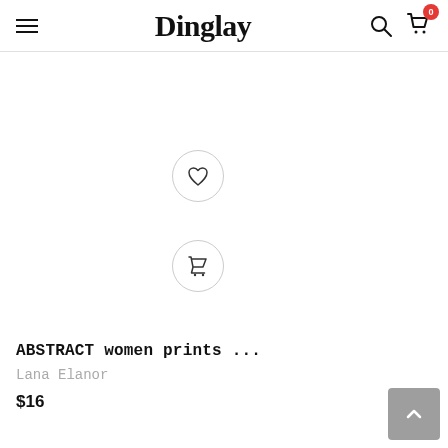Dinglay
[Figure (illustration): Heart/wishlist icon inside a circular button]
[Figure (illustration): Shopping cart icon inside a circular button]
ABSTRACT women prints ...
Lana Elanor
$16
[Figure (illustration): Scroll-to-top button (upward chevron on grey square)]